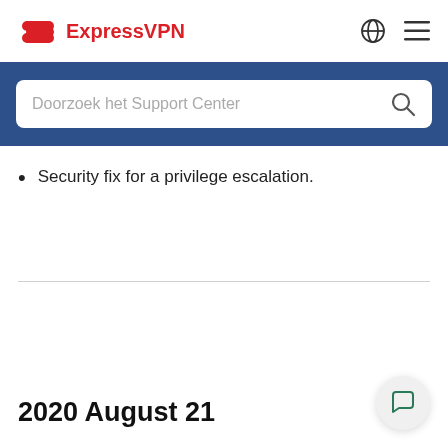ExpressVPN
[Figure (screenshot): ExpressVPN support center search bar with blue background and placeholder text 'Doorzoek het Support Center']
Security fix for a privilege escalation.
2020 August 21